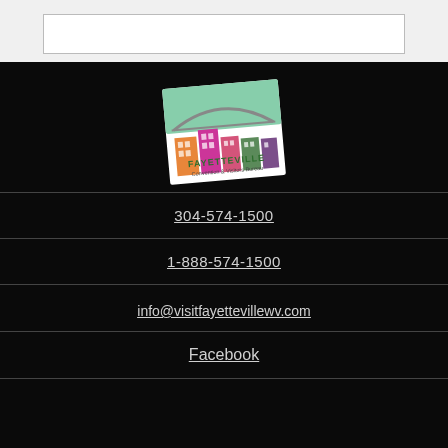[Figure (logo): Fayetteville Convention & Visitors Bureau logo - colorful buildings with bridge, slightly rotated]
304-574-1500
1-888-574-1500
info@visitfayettevillewv.com
Facebook